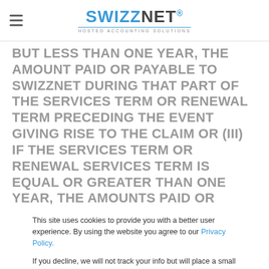SWIZZNET - HOSTED ACCOUNTING SOLUTIONS
BUT LESS THAN ONE YEAR, THE AMOUNT PAID OR PAYABLE TO SWIZZNET DURING THAT PART OF THE SERVICES TERM OR RENEWAL TERM PRECEDING THE EVENT GIVING RISE TO THE CLAIM OR (III) IF THE SERVICES TERM OR RENEWAL SERVICES TERM IS EQUAL OR GREATER THAN ONE YEAR, THE AMOUNTS PAID OR PAYABLE FOR THE SERVICES DURING THE TWELVE (12)
This site uses cookies to provide you with a better user experience. By using the website you agree to our Privacy Policy.

If you decline, we will not track your info but will place a small cookie to remember your decline preference.